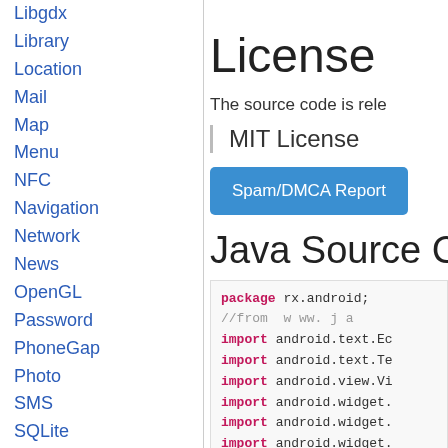Libgdx
Library
Location
Mail
Map
Menu
NFC
Navigation
Network
News
OpenGL
Password
PhoneGap
Photo
SMS
SQLite
Security
Sensor
Sound
Timer
Twitter
UI
License
The source code is rele
MIT License
Spam/DMCA Report
Java Source C
package rx.android;
//from  w ww. j a
import android.text.Ec
import android.text.Te
import android.view.Vi
import android.widget.
import android.widget.
import android.widget.
import rx.Observable;